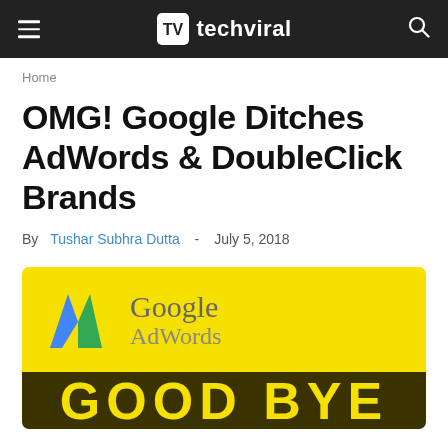techviral
Home
OMG! Google Ditches AdWords & DoubleClick Brands
By Tushar Subhra Dutta - July 5, 2018
[Figure (photo): Google AdWords logo on yellow background with 'GOOD BYE' text on dark background below]